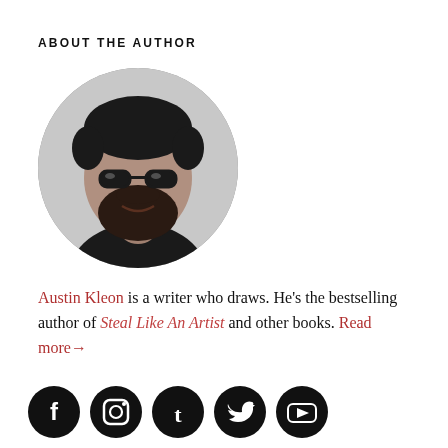ABOUT THE AUTHOR
[Figure (photo): Circular black-and-white portrait photo of Austin Kleon, a bearded man with glasses wearing a dark shirt]
Austin Kleon is a writer who draws. He's the bestselling author of Steal Like An Artist and other books. Read more→
[Figure (other): Row of five circular black social media icons: Facebook, Instagram, Tumblr, Twitter, YouTube]